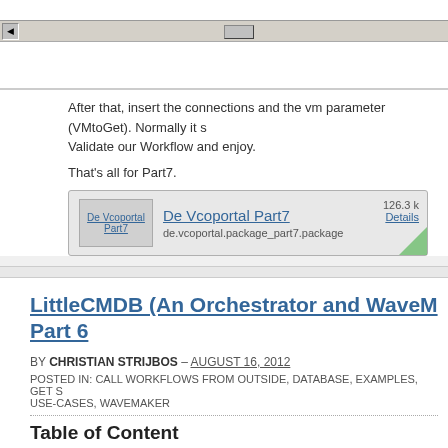[Figure (screenshot): Horizontal scrollbar UI element with left arrow button and scroll thumb in center]
After that, insert the connections and the vm parameter (VMtoGet). Normally it s... Validate our Workflow and enjoy.
That's all for Part7.
[Figure (screenshot): Download box for 'De Vcoportal Part7' showing filename de.vcoportal.package_part7.package, size 126.3 k, with Details link and green corner icon]
LittleCMDB (An Orchestrator and WaveM... Part 6
BY CHRISTIAN STRIJBOS – AUGUST 16, 2012
POSTED IN: CALL WORKFLOWS FROM OUTSIDE, DATABASE, EXAMPLES, GET S... USE-CASES, WAVEMAKER
Table of Content